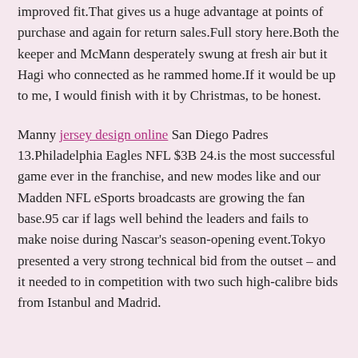improved fit.That gives us a huge advantage at points of purchase and again for return sales.Full story here.Both the keeper and McMann desperately swung at fresh air but it Hagi who connected as he rammed home.If it would be up to me, I would finish with it by Christmas, to be honest.
Manny jersey design online San Diego Padres 13.Philadelphia Eagles NFL $3B 24.is the most successful game ever in the franchise, and new modes like and our Madden NFL eSports broadcasts are growing the fan base.95 car if lags well behind the leaders and fails to make noise during Nascar's season-opening event.Tokyo presented a very strong technical bid from the outset – and it needed to in competition with two such high-calibre bids from Istanbul and Madrid.